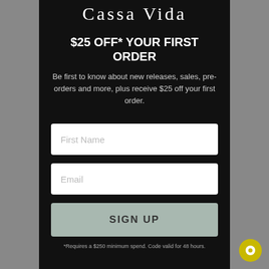Cassa Vida
$25 OFF* YOUR FIRST ORDER
Be first to know about new releases, sales, pre-orders and more, plus receive $25 off your first order.
First Name
Email
SIGN UP
*Requires a $250 minimum spend. Code valid for 48 hours.